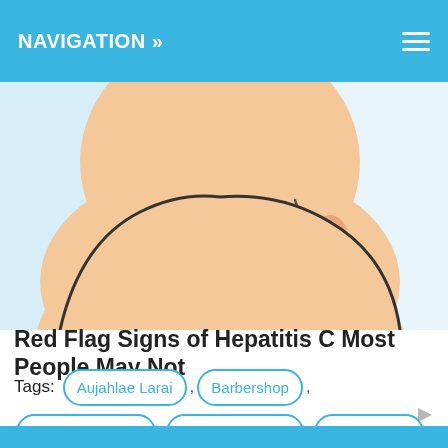NAVIGATION »
[Figure (illustration): Cartoon illustration of a person scratching their side, on a light blue background, partially cropped]
Red Flag Signs of Hepatitis C Most People May Not
Tags: Aujahlae Larai , Barbershop , Brandy Norwood , Celebrity Babies , Eva Marcille , Lahmard Tate , Larenz Tate , Lark Voorhies , Larron Tate , Larry Tate , Peggy Tate , Rocky Balboa